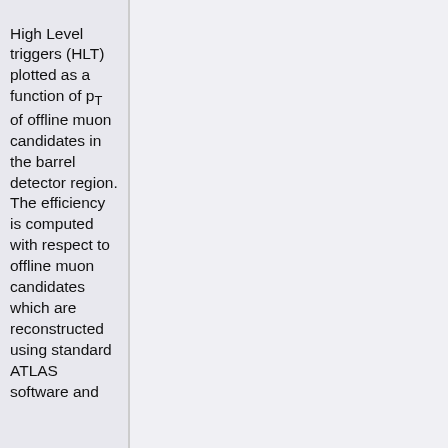High Level triggers (HLT) plotted as a function of p_T of offline muon candidates in the barrel detector region. The efficiency is computed with respect to offline muon candidates which are reconstructed using standard ATLAS software and